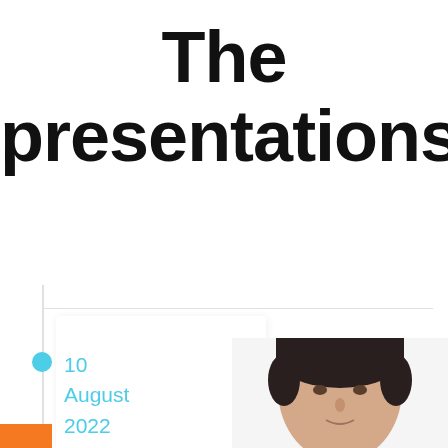The presentations
10 August 2022
[Figure (photo): Headshot photo of a middle-aged woman with short dark hair, facing the camera directly, wearing small earrings, white background.]